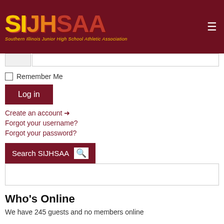[Figure (logo): SIJHSAA logo - Southern Illinois Junior High School Athletic Association on dark red background]
Remember Me
Log in
Create an account →
Forgot your username?
Forgot your password?
Search SIJHSAA
Who's Online
We have 245 guests and no members online